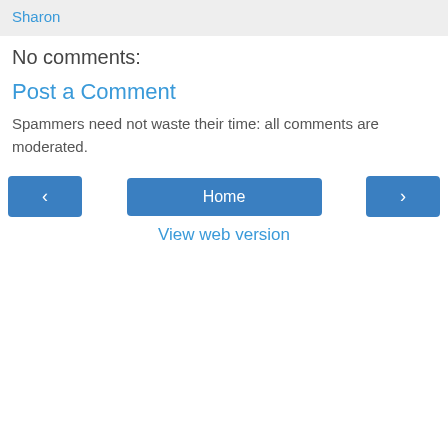Sharon
No comments:
Post a Comment
Spammers need not waste their time: all comments are moderated.
[Figure (screenshot): Navigation bar with left arrow button, Home button, and right arrow button]
View web version